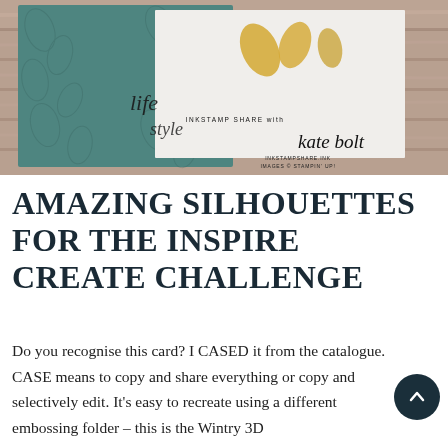[Figure (photo): A teal/green embossed card with leafy texture, overlaid on a white panel with gold embellishments, placed on a rustic wood background. Watermark reads INKSTAMP SHARE with kate bolt / INKSTAMPSHARE.INK / IMAGES © STAMPIN UP]
AMAZING SILHOUETTES FOR THE INSPIRE CREATE CHALLENGE
Do you recognise this card? I CASED it from the catalogue. CASE means to copy and share everything or copy and selectively edit. It's easy to recreate using a different embossing folder – this is the Wintry 3D